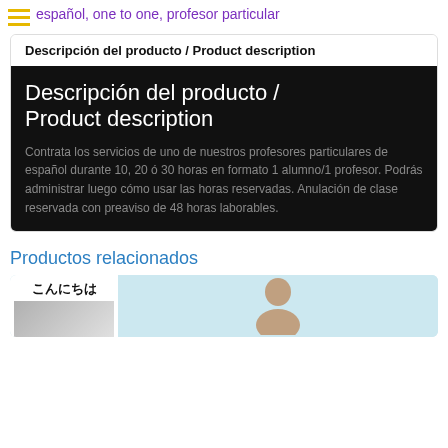español, one to one, profesor particular
Descripción del producto / Product description
Descripción del producto / Product description
Contrata los servicios de uno de nuestros profesores particulares de español durante 10, 20 ó 30 horas en formato 1 alumno/1 profesor. Podrás administrar luego cómo usar las horas reservadas. Anulación de clase reservada con preaviso de 48 horas laborables.
Productos relacionados
[Figure (photo): Related product card showing Japanese text 'こんにちは' and a person photo on light blue background]